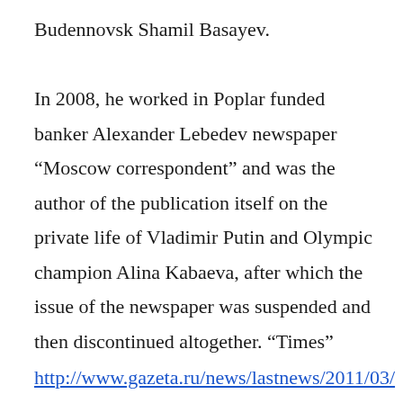Budennovsk Shamil Basayev.

In 2008, he worked in Poplar funded banker Alexander Lebedev newspaper “Moscow correspondent” and was the author of the publication itself on the private life of Vladimir Putin and Olympic champion Alina Kabaeva, after which the issue of the newspaper was suspended and then discontinued altogether. “Times”
http://www.gazeta.ru/news/lastnews/2011/03/